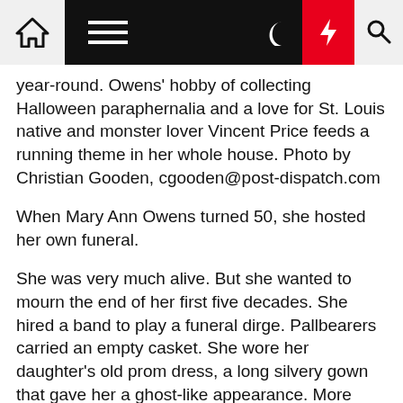[Navigation bar with home, menu, moon, bolt, search icons]
year-round. Owens' hobby of collecting Halloween paraphernalia and a love for St. Louis native and monster lover Vincent Price feeds a running theme in her whole house. Photo by Christian Gooden, cgooden@post-dispatch.com
When Mary Ann Owens turned 50, she hosted her own funeral.
She was very much alive. But she wanted to mourn the end of her first five decades. She hired a band to play a funeral dirge. Pallbearers carried an empty casket. She wore her daughter's old prom dress, a long silvery gown that gave her a ghost-like appearance. More than 80 of her friends and family paraded around Sublette Park in south St. Louis in their funeral attire.